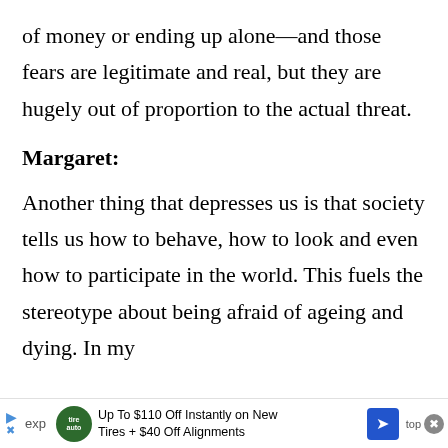of money or ending up alone—and those fears are legitimate and real, but they are hugely out of proportion to the actual threat.
Margaret:
Another thing that depresses us is that society tells us how to behave, how to look and even how to participate in the world. This fuels the stereotype about being afraid of ageing and dying. In my
Up To $110 Off Instantly on New Tires + $40 Off Alignments